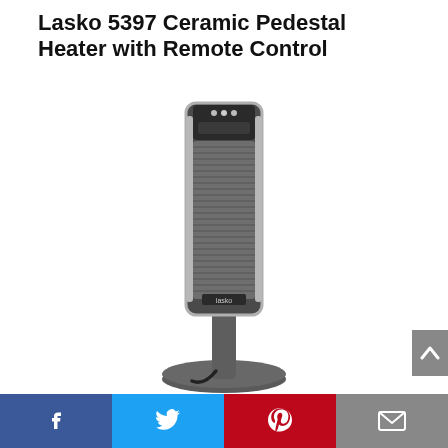Lasko 5397 Ceramic Pedestal Heater with Remote Control
[Figure (photo): Product photo of a Lasko 5397 Ceramic Pedestal Heater — a tall grey tower-style ceramic heater with a metallic silver trim, control panel and display at the top, air vent grille covering front body, Lasko logo near the bottom, mounted on a round grey pedestal base with a power cord.]
Facebook | Twitter | Pinterest | Email social share bar